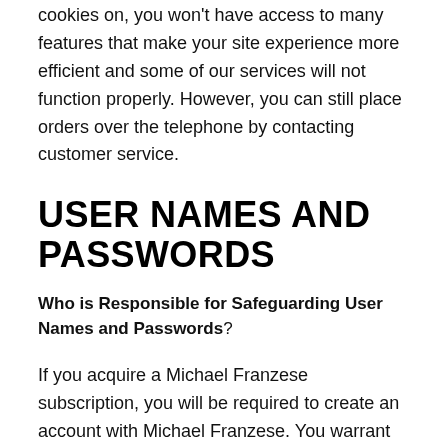cookies on, you won't have access to many features that make your site experience more efficient and some of our services will not function properly. However, you can still place orders over the telephone by contacting customer service.
USER NAMES AND PASSWORDS
Who is Responsible for Safeguarding User Names and Passwords?
If you acquire a Michael Franzese subscription, you will be required to create an account with Michael Franzese. You warrant that the